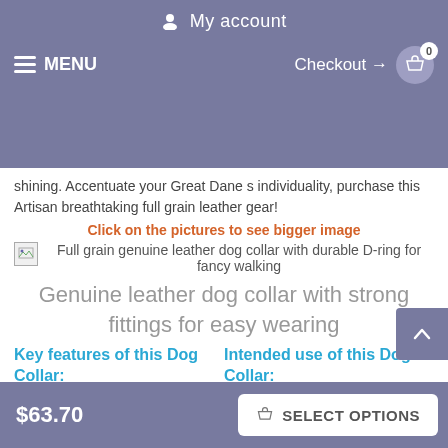My account
MENU   Checkout → 0
shining. Accentuate your Great Dane s individuality, purchase this Artisan breathtaking full grain leather gear!
Click on the pictures to see bigger image
Full grain genuine leather dog collar with durable D-ring for fancy walking
Genuine leather dog collar with strong fittings for easy wearing
Key features of this Dog Collar:
Intended use of this Dog Collar:
Full grain leather
Daily walking
Adjustable
Old bronze-like plated
$63.70   SELECT OPTIONS